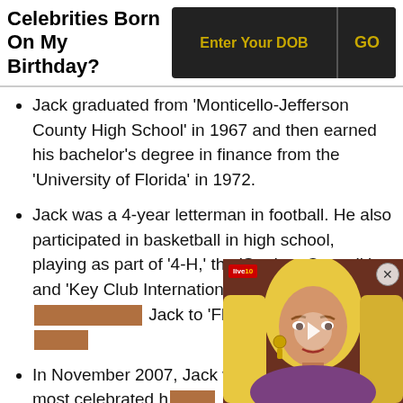Celebrities Born On My Birthday?
Jack graduated from 'Monticello-Jefferson County High School' in 1967 and then earned his bachelor's degree in finance from the 'University of Florida' in 1972.
Jack was a 4-year letterman in football. He also participated in basketball in high school, playing as part of '4-H,' the 'Student Council,' and 'Key Club International.' In 1989, 'Spo[rts Illustrated' named] Jack to 'Florida's All-Time' [best list].
In November 2007, Jack wa[s named one of] Florida's most celebrated h[all of fame inductees].
[Figure (other): Video overlay thumbnail showing a blonde woman with a play button, close button, and a live badge.]